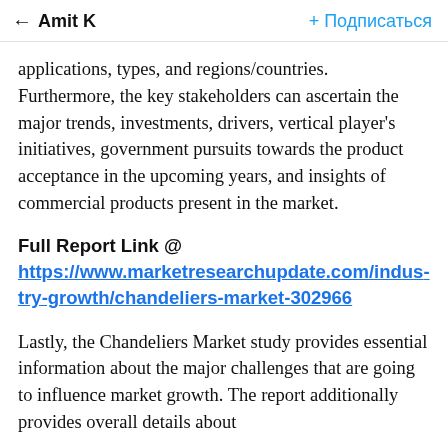← Amit K   + Подписаться
applications, types, and regions/countries. Furthermore, the key stakeholders can ascertain the major trends, investments, drivers, vertical player's initiatives, government pursuits towards the product acceptance in the upcoming years, and insights of commercial products present in the market.
Full Report Link @ https://www.marketresearchupdate.com/industry-growth/chandeliers-market-302966
Lastly, the Chandeliers Market study provides essential information about the major challenges that are going to influence market growth. The report additionally provides overall details about